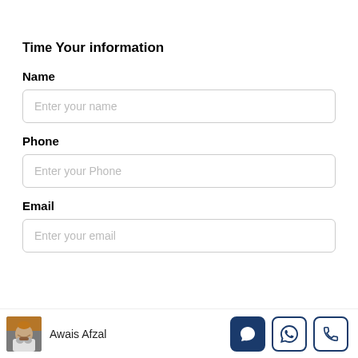Time
Your information
Name
Enter your name
Phone
Enter your Phone
Email
Enter your email
Awais Afzal